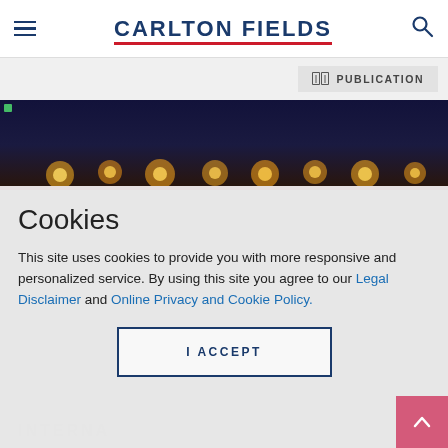CARLTON FIELDS
PUBLICATION
[Figure (photo): Dark photo strip showing bokeh lights against a dark blue background with a red bar at the bottom]
Cookies
This site uses cookies to provide you with more responsive and personalized service. By using this site you agree to our Legal Disclaimer and Online Privacy and Cookie Policy.
I ACCEPT